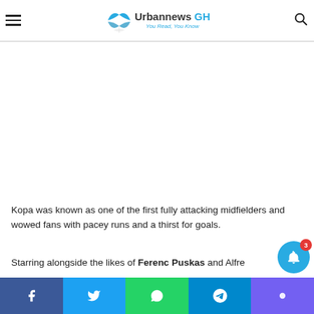Urbannews GH — You Read, You Know
[Figure (other): Advertisement or image placeholder area]
Kopa was known as one of the first fully attacking midfielders and wowed fans with pacey runs and a thirst for goals.
Starring alongside the likes of Ferenc Puskas and Alfre...